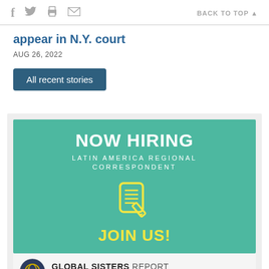f  [twitter]  [print]  [email]   BACK TO TOP ▲
appear in N.Y. court
AUG 26, 2022
All recent stories
[Figure (infographic): NOW HIRING - LATIN AMERICA REGIONAL CORRESPONDENT - JOIN US! Advertisement banner for Global Sisters Report with teal background, yellow scroll-and-pen icon, and white/yellow text.]
GLOBAL SISTERS REPORT — A project of National Catholic Reporter